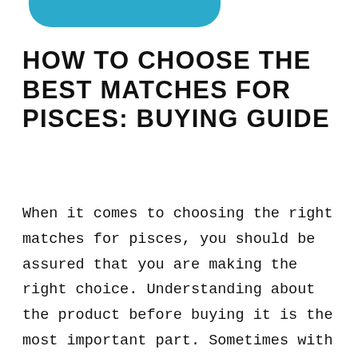[Figure (other): Teal/cyan rounded decorative bar at top of page]
HOW TO CHOOSE THE BEST MATCHES FOR PISCES: BUYING GUIDE
When it comes to choosing the right matches for pisces, you should be assured that you are making the right choice. Understanding about the product before buying it is the most important part. Sometimes with so many options, evaluating